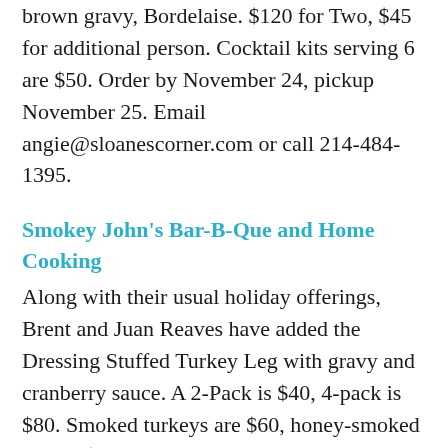brown gravy, Bordelaise. $120 for Two, $45 for additional person. Cocktail kits serving 6 are $50. Order by November 24, pickup November 25. Email angie@sloanescorner.com or call 214-484-1395.
Smokey John's Bar-B-Que and Home Cooking
Along with their usual holiday offerings, Brent and Juan Reaves have added the Dressing Stuffed Turkey Leg with gravy and cranberry sauce. A 2-Pack is $40, 4-pack is $80. Smoked turkeys are $60, honey-smoked ham is $65. Family meals come in two sizes: Small feeds six for $120 and includes turkey, dressing, gravy, two sides, cranberry sauce, six rolls, and one pie; Large feeds 12 for $150 and includes a dozen rolls. Order by November 20; pick up November 23-25. Order online or call 214-352-2752.
Snooze, an A.M. Eatery